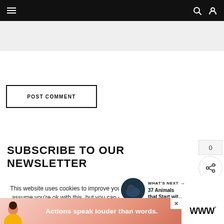Navigation bar with hamburger menu, search and account icons
POST COMMENT
SUBSCRIBE TO OUR NEWSLETTER
This website uses cookies to improve your experience. We'll assume you're ok with this, but you can opt-out if you wish.
[Figure (infographic): Share count bubble showing 0 and share icon circle]
[Figure (infographic): What's Next arrow with 37 Animals that Start wit... thumbnail and label]
[Figure (infographic): Advertisement banner: person silhouette, Actions speak louder than words., close X button, logo]